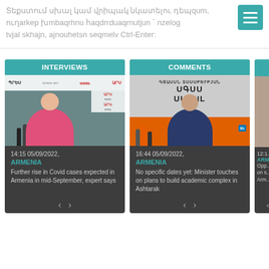Տեքստում սխալ կամ վրիպակ նկատելու դեպքում, ուղարկեք խմբագրին հաղորդագրություն` նշելով տվյալ սխալը, այնուհետև սեղմելով Ctrl-Enter:
[Figure (screenshot): INTERVIEWS card with Armenian woman speaker at press conference, time 14:15 05/09/2022, region ARMENIA, headline: Further rise in Covid cases expected in Armenia in mid-September, expert says]
[Figure (screenshot): COMMENTS card with man speaking at press conference, time 16:44 05/09/2022, region ARMENIA, headline: No specific dates yet: Minister touches on plans to build academic complex in Ashtarak]
[Figure (screenshot): Partial third card visible, time 12:1_, region ARM_, headline starting with Opp... on s... Arm...]